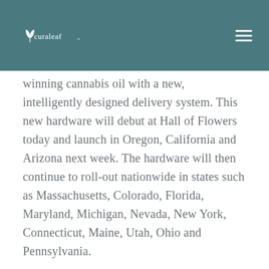Curaleaf logo and navigation
winning cannabis oil with a new, intelligently designed delivery system. This new hardware will debut at Hall of Flowers today and launch in Oregon, California and Arizona next week. The hardware will then continue to roll-out nationwide in states such as Massachusetts, Colorado, Florida, Maryland, Michigan, Nevada, New York, Connecticut, Maine, Utah, Ohio and Pennsylvania.